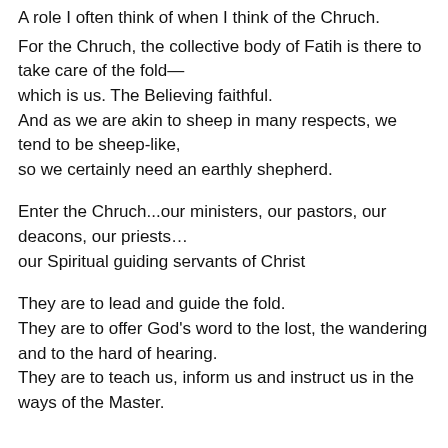A role I often think of when I think of the Chruch.
For the Chruch, the collective body of Fatih is there to take care of the fold—
which is us. The Believing faithful.
And as we are akin to sheep in many respects, we tend to be sheep-like,
so we certainly need an earthly shepherd.
Enter the Chruch...our ministers, our pastors, our deacons, our priests…
our Spiritual guiding servants of Christ
They are to lead and guide the fold.
They are to offer God's word to the lost, the wandering and to the hard of hearing.
They are to teach us, inform us and instruct us in the ways of the Master.